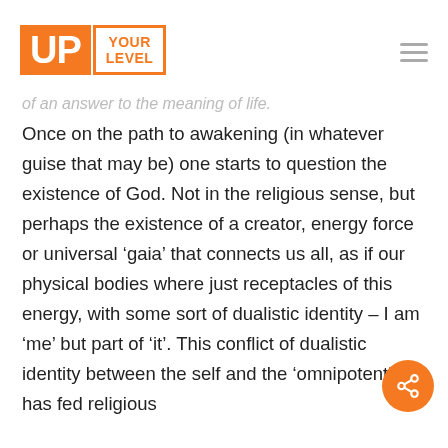[Figure (logo): Up Your Level logo — orange square with white 'UP' text next to orange-bordered rectangle with 'YOUR LEVEL' text]
of an answer to the meaning of life.
Once on the path to awakening (in whatever guise that may be) one starts to question the existence of God. Not in the religious sense, but perhaps the existence of a creator, energy force or universal ‘gaia’ that connects us all, as if our physical bodies where just receptacles of this energy, with some sort of dualistic identity – I am ‘me’ but part of ‘it’. This conflict of dualistic identity between the self and the ‘omnipotent’ has fed religious